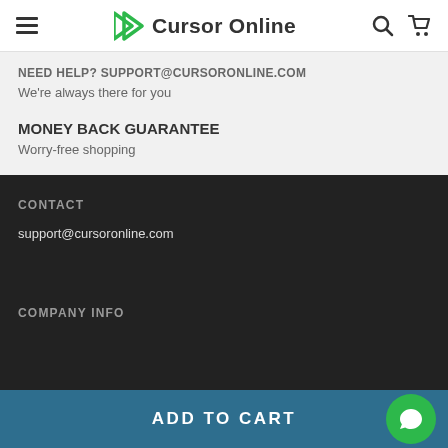Cursor Online — navigation header with hamburger menu, logo, search and cart icons
NEED HELP? support@cursoronline.com
We're always there for you
MONEY BACK GUARANTEE
Worry-free shopping
CONTACT
support@cursoronline.com
COMPANY INFO
ADD TO CART